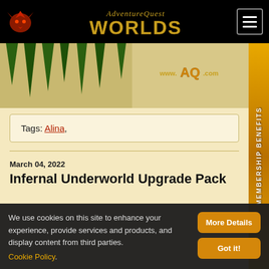AdventureQuest Worlds
[Figure (illustration): Green stalactites hanging from top, dark cave-like background with www.AQ.com logo in gold/orange lettering on right side]
Tags: Alina,
March 04, 2022
Infernal Underworld Upgrade Pack
We use cookies on this site to enhance your experience, provide services and products, and display content from third parties. Cookie Policy.